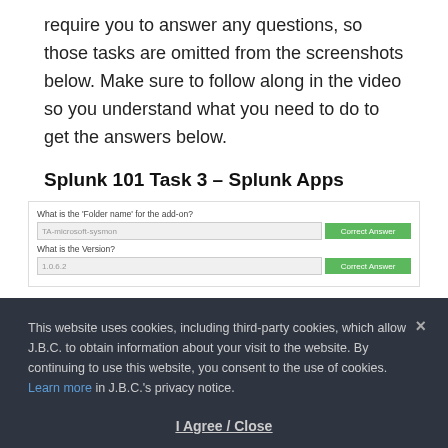require you to answer any questions, so those tasks are omitted from the screenshots below. Make sure to follow along in the video so you understand what you need to do to get the answers below.
Splunk 101 Task 3 – Splunk Apps
[Figure (screenshot): Screenshot of Splunk 101 Task 3 form with two fields: 'What is the Folder name for the add-on?' showing input '(A-microsoft-sysmon' with green 'Correct Answer' button, and 'What is the Version?' showing input '1.0.6.2' with green 'Correct Answer' button.]
Splunk 101 Task 4 – Adding Data
This website uses cookies, including third-party cookies, which allow J.B.C. to obtain information about your visit to the website. By continuing to use this website, you consent to the use of cookies. Learn more in J.B.C.'s privacy notice.
I Agree / Close